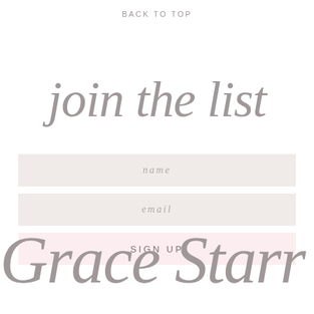BACK TO TOP
join the list
name
email
SIGN UP
Grace Starr